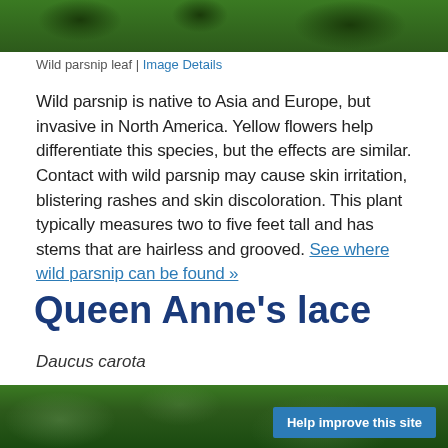[Figure (photo): Top portion of a photo showing wild parsnip leaves — dark green foliage with blueberries or dark berries visible against green leaves]
Wild parsnip leaf | Image Details
Wild parsnip is native to Asia and Europe, but invasive in North America. Yellow flowers help differentiate this species, but the effects are similar. Contact with wild parsnip may cause skin irritation, blistering rashes and skin discoloration. This plant typically measures two to five feet tall and has stems that are hairless and grooved. See where wild parsnip can be found »
Queen Anne's lace
Daucus carota
[Figure (photo): Bottom portion of a photo showing Queen Anne's lace plant — green blurry background with plant stems visible, with a 'Help improve this site' button overlay]